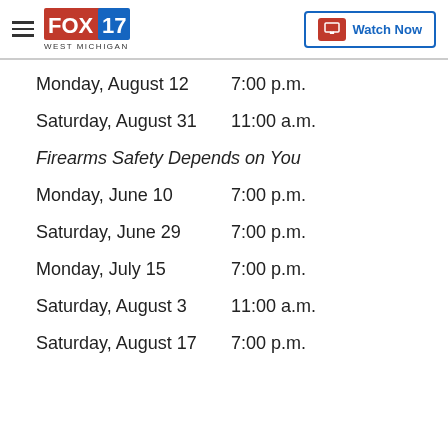FOX 17 WEST MICHIGAN | Watch Now
Monday, August 12    7:00 p.m.
Saturday, August 31    11:00 a.m.
Firearms Safety Depends on You
Monday, June 10    7:00 p.m.
Saturday, June 29    7:00 p.m.
Monday, July 15    7:00 p.m.
Saturday, August 3    11:00 a.m.
Saturday, August 17    7:00 p.m.